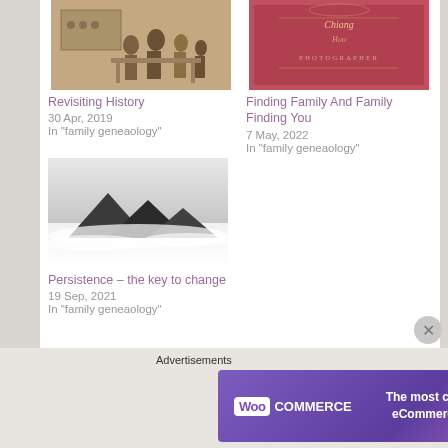[Figure (photo): Sepia-toned historical photo of people standing around a table or counter]
Revisiting History
30 Apr, 2019
In "family geneaology"
[Figure (photo): Red-tinted vintage book cover with cursive text and photographer label]
Finding Family And Family Finding You
7 May, 2022
In "family geneaology"
[Figure (photo): Black and white landscape photo of mountains emerging from clouds/fog]
Persistence – the key to change
19 Sep, 2021
In "family geneaology"
Advertisements
[Figure (screenshot): WooCommerce advertisement banner: purple background, WooCommerce logo on left, text 'The most customizable eCommerce platform' on right]